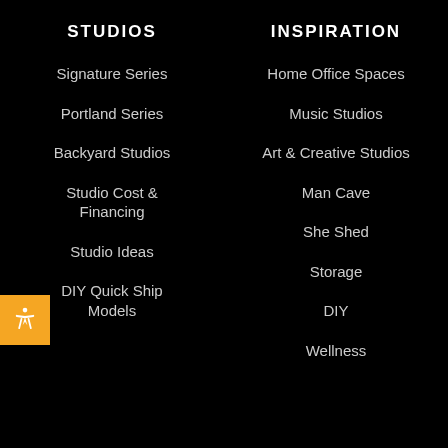STUDIOS
Signature Series
Portland Series
Backyard Studios
Studio Cost & Financing
Studio Ideas
DIY Quick Ship Models
INSPIRATION
Home Office Spaces
Music Studios
Art & Creative Studios
Man Cave
She Shed
Storage
DIY
Wellness